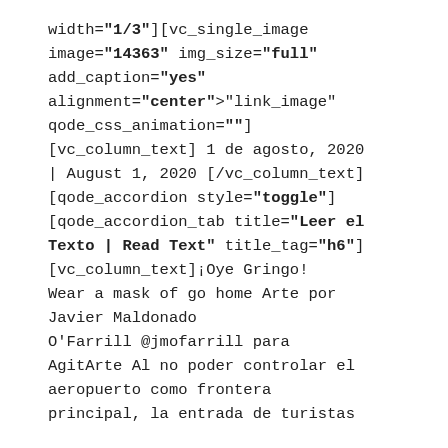width="1/3"][vc_single_image image="14363" img_size="full" add_caption="yes" alignment="center" onclick="link_image" qode_css_animation=""] [vc_column_text] 1 de agosto, 2020 | August 1, 2020 [/vc_column_text] [qode_accordion style="toggle"] [qode_accordion_tab title="Leer el Texto | Read Text" title_tag="h6"] [vc_column_text]¡Oye Gringo! Wear a mask of go home Arte por Javier Maldonado O'Farrill @jmofarrill para AgitArte Al no poder controlar el aeropuerto como frontera principal, la entrada de turistas